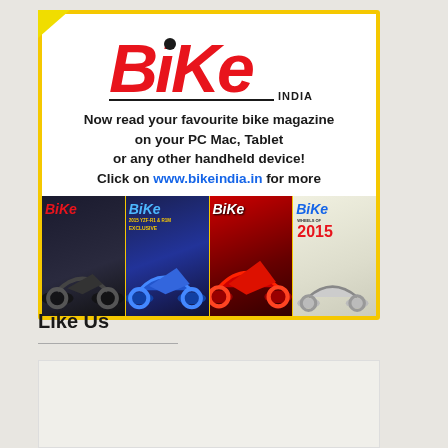[Figure (advertisement): Bike India magazine advertisement with yellow border, red Bike India logo, ad text about reading on PC Mac Tablet or handheld device, link to www.bikeindia.in, and four magazine covers at the bottom]
Like Us
[Figure (other): Empty white/light box, likely a Facebook widget placeholder]